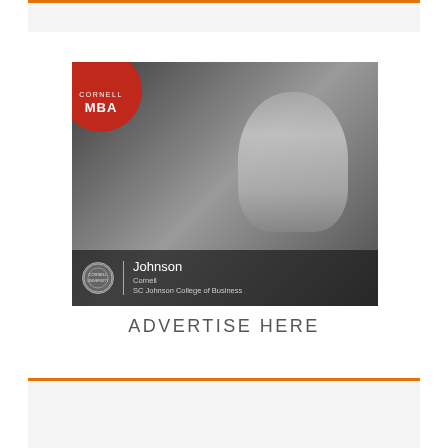[Figure (photo): Cornell MBA advertisement banner at top of page with orange top border]
[Figure (photo): Cornell MBA advertisement image: grayscale photo of a male student in a classroom setting. Red circular badge in top-left corner with text CORNELL MBA. Bottom bar shows Johnson Cornell SC Johnson College of Business logo and text.]
ADVERTISE HERE
[Figure (photo): Bottom content box with orange top border and light gray background]